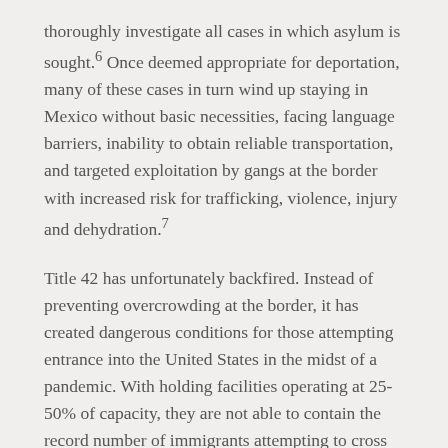thoroughly investigate all cases in which asylum is sought.6 Once deemed appropriate for deportation, many of these cases in turn wind up staying in Mexico without basic necessities, facing language barriers, inability to obtain reliable transportation, and targeted exploitation by gangs at the border with increased risk for trafficking, violence, injury and dehydration.7
Title 42 has unfortunately backfired. Instead of preventing overcrowding at the border, it has created dangerous conditions for those attempting entrance into the United States in the midst of a pandemic. With holding facilities operating at 25-50% of capacity, they are not able to contain the record number of immigrants attempting to cross into the United States. A recent report indicated that the US Border Patrol is at 389% of its overall COVID-19 adjusted capacity along the southwest border which can lead to additional COVID-19 cases due to overcrowding.6 In addition, human